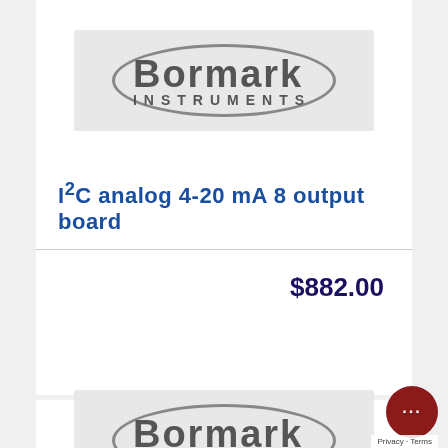[Figure (logo): Bormark Instruments logo with oval border]
I²C analog 4-20 mA 8 output board
$882.00
[Figure (logo): Bormark Instruments logo with oval border (second card)]